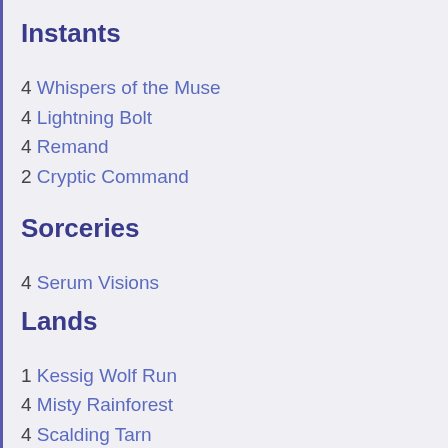Instants
4 Whispers of the Muse
4 Lightning Bolt
4 Remand
2 Cryptic Command
Sorceries
4 Serum Visions
Lands
1 Kessig Wolf Run
4 Misty Rainforest
4 Scalding Tarn
1 Wooded Foothills
2 Steam Vents